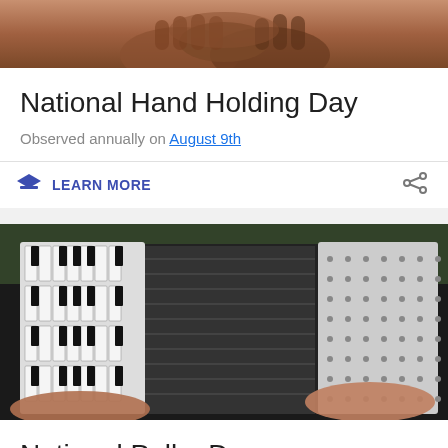[Figure (photo): Close-up photo of two hands holding each other, warm brown tones]
National Hand Holding Day
Observed annually on August 9th
LEARN MORE
[Figure (photo): Person playing a Hohner accordion, close-up showing keyboard and bellows]
National Polka Day
Observed annually on August 9th